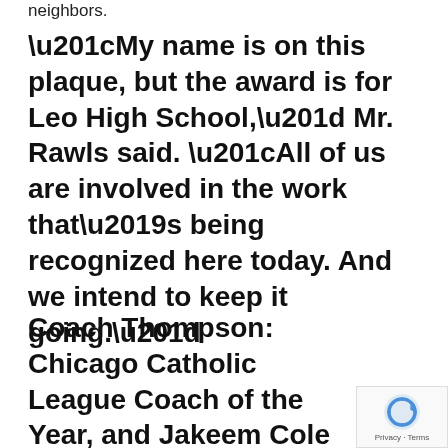neighbors.
“My name is on this plaque, but the award is for Leo High School,” Mr. Rawls said. “All of us are involved in the work that’s being recognized here today. And we intend to keep it going.”
Coach Thompson: Chicago Catholic League Coach of the Year, and Jakeem Cole CCL Player of the Year